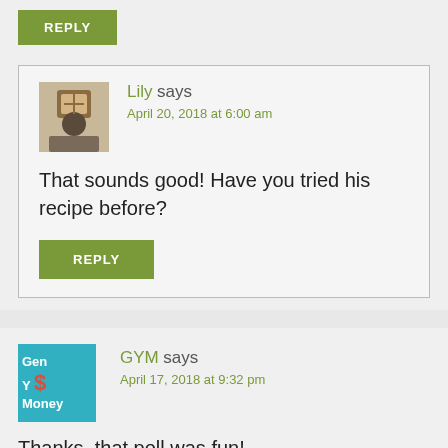REPLY
Lily says
April 20, 2018 at 6:00 am
That sounds good! Have you tried his recipe before?
REPLY
GYM says
April 17, 2018 at 9:32 pm
Thanks, that poll was fun!